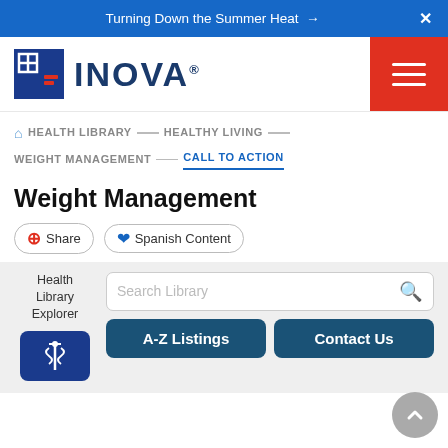Turning Down the Summer Heat → X
[Figure (logo): INOVA health system logo with blue cross icon and INOVA wordmark]
HEALTH LIBRARY — HEALTHY LIVING — WEIGHT MANAGEMENT — CALL TO ACTION
Weight Management
Share  Spanish Content
Health Library Explorer  Search Library  A-Z Listings  Contact Us